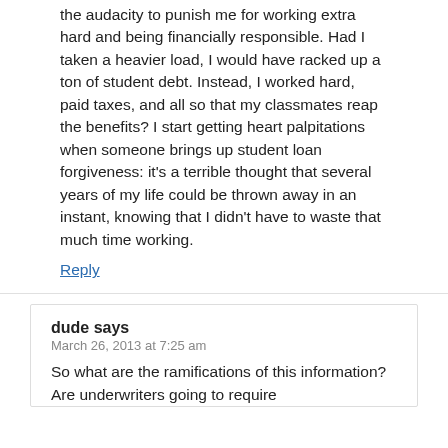the audacity to punish me for working extra hard and being financially responsible. Had I taken a heavier load, I would have racked up a ton of student debt. Instead, I worked hard, paid taxes, and all so that my classmates reap the benefits? I start getting heart palpitations when someone brings up student loan forgiveness: it's a terrible thought that several years of my life could be thrown away in an instant, knowing that I didn't have to waste that much time working.
Reply
dude says
March 26, 2013 at 7:25 am
So what are the ramifications of this information? Are underwriters going to require